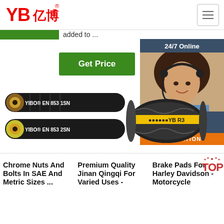[Figure (logo): YB亿博 logo in red text]
[Figure (illustration): Hamburger menu icon button]
added to ...
[Figure (illustration): Green Get Price button]
[Figure (photo): 24/7 Online chat widget with female customer service representative wearing headset]
[Figure (photo): Two hydraulic hoses labeled YIBO EN 853 1SN and YIBO EN 853 2SN]
[Figure (photo): Hydraulic hose with yellow stripe labeled YB R3]
Chrome Nuts And Bolts In SAE And Metric Sizes ...
Premium Quality Jinan Qingqi For Varied Uses -
Brake Pads For Harley Davidson - Motorcycle